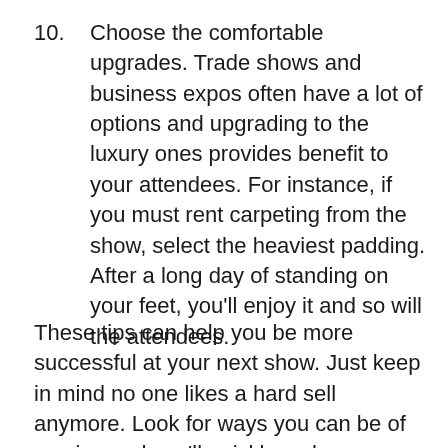10.    Choose the comfortable upgrades. Trade shows and business expos often have a lot of options and upgrading to the luxury ones provides benefit to your attendees. For instance, if you must rent carpeting from the show, select the heaviest padding. After a long day of standing on your feet, you'll enjoy it and so will the attendees.
These tips can help you be more successful at your next show. Just keep in mind no one likes a hard sell anymore. Look for ways you can be of service and you'll quickly make a name for yourself at the business expo.